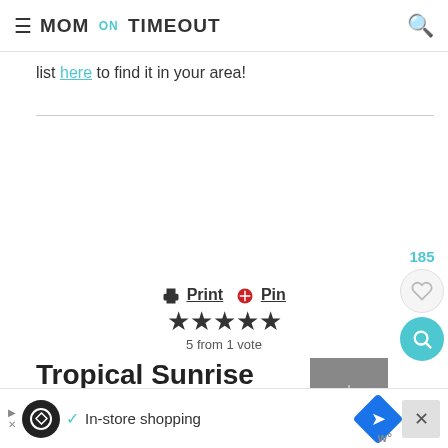≡ MOM ON TIMEOUT 🔍
list here to find it in your area!
[Figure (screenshot): White blank content area placeholder]
🖨 Print 📌 Pin
★★★★★ 5 from 1 vote
Tropical Sunrise Smoothie
[Figure (photo): Small gray placeholder image for recipe photo with arrow icon]
185 ♡ 🔍
In-store shopping